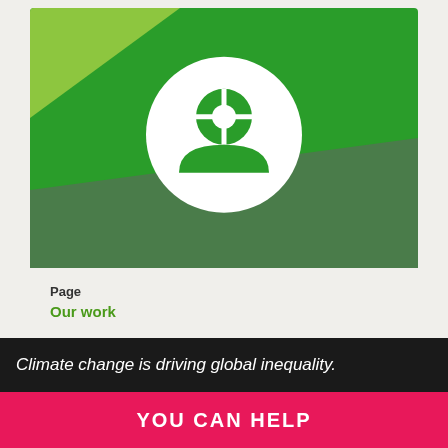[Figure (illustration): Green card with a white circle containing a green person/user icon. The background has a lime green triangle at top-left, a medium green main area, and a darker green diagonal band at bottom. Below the image is a footer with 'Page' label and 'Our work' link text.]
Page
Our work
Climate change is driving global inequality.
YOU CAN HELP